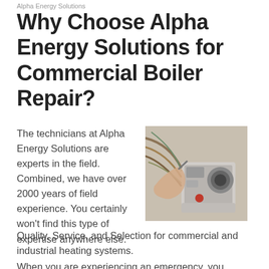Alpha Energy Solutions
Why Choose Alpha Energy Solutions for Commercial Boiler Repair?
The technicians at Alpha Energy Solutions are experts in the field. Combined, we have over 2000 years of field experience. You certainly won't find this type of expertise anywhere else.
[Figure (photo): A technician working on the internal components of a commercial boiler, showing wiring, pipes, and mechanical parts.]
Quality, Service, and Selection for commercial and industrial heating systems.
When you are experiencing an emergency, you